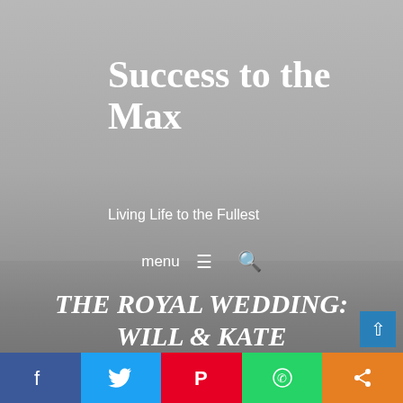Success to the Max
Living Life to the Fullest
menu ≡  🔍
THE ROYAL WEDDING: WILL & KATE
April 30, 2011  ·  Success to the Max  ·  Living in Lincoln
[Figure (infographic): Social media sharing bar with Facebook, Twitter, Pinterest, WhatsApp, and share buttons]